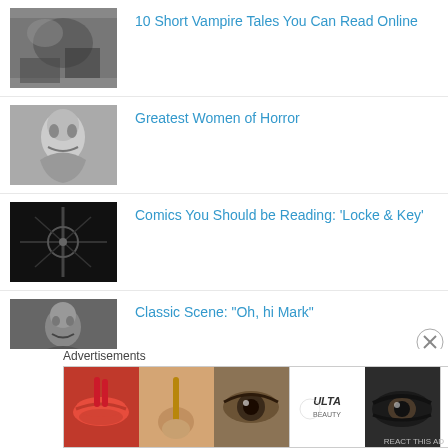10 Short Vampire Tales You Can Read Online
Greatest Women of Horror
Comics You Should be Reading: 'Locke & Key'
Classic Scene: "Oh, hi Mark"
Advertisements
[Figure (photo): Advertisement banner with beauty/cosmetics imagery and ULTA logo with SHOP NOW button]